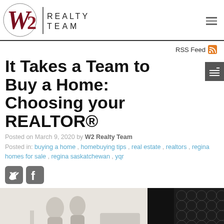W2 REALTY TEAM
RSS Feed
It Takes a Team to Buy a Home: Choosing your REALTOR®
Posted on March 9, 2020 by W2 Realty Team
Posted in: buying a home , homebuying tips , real estate , realtors , regina homes for sale , regina saskatchewan , yqr
[Figure (photo): Blog post featured image showing a couple looking at a home, with text overlay IT TAKES A TEAM TO BUY A HOME]